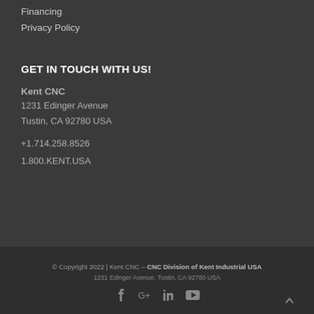Financing
Privacy Policy
GET IN TOUCH WITH US!
Kent CNC
1231 Edinger Avenue
Tustin, CA 92780 USA

+1.714.258.8526
1.800.KENT.USA
© Copyright 2022 | Kent CNC – CNC Division of Kent Industrial USA
1231 Edinger Avenue, Tustin, CA 92780 USA